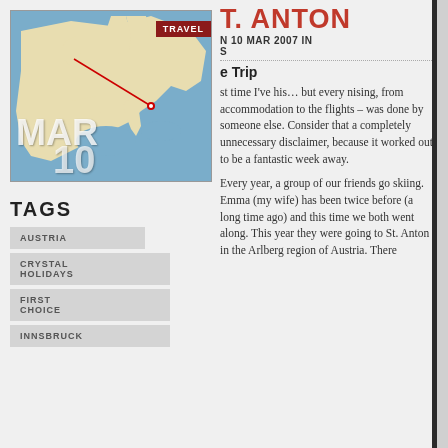[Figure (map): Map of Europe with location marker, overlaid with TRAVEL badge, MAR text and 10 date overlay]
T. ANTON
N 10 MAR 2007 IN S
e Trip
st time I've his… but every nising, from accommodation to the flights – was done by someone else. Consider that a completely unnecessary disclaimer, because it worked out to be a fantastic week away.
Every year, a group of our friends go skiing. Emma (my wife) has been twice before (a long time ago) and this time we both went along. This year they were going to St. Anton in the Arlberg region of Austria. There
TAGS
AUSTRIA
CRYSTAL HOLIDAYS
FIRST CHOICE
INNSBRUCK
TAGS
Abu Dhabi Air
Tahiti Air
Tahiti Nui
Alex
American Airlines
Barcelona
Bora Bora
Boston
British Airways
Business Traveller
Chester
Marathon
Cincinnati
Crown Plaza
Delta First Choice
Hastings Half